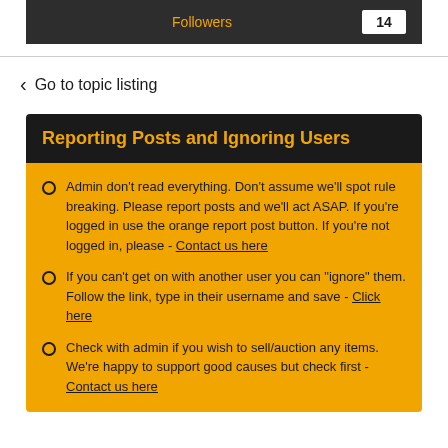Followers  14
Go to topic listing
Reporting Posts and Ignoring Users
Admin don't read everything. Don't assume we'll spot rule breaking. Please report posts and we'll act ASAP. If you're logged in use the orange report post button. If you're not logged in, please - Contact us here
If you can't get on with another user you can "ignore" them. Follow the link, type in their username and save - Click here
Check with admin if you wish to sell/auction any items. We're happy to support good causes but check first - Contact us here